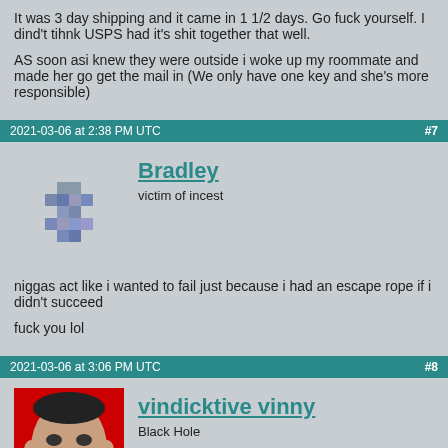It was 3 day shipping and it came in 1 1/2 days. Go fuck yourself. I dind't tihnk USPS had it's shit together that well.

AS soon asi knew they were outside i woke up my roommate and made her go get the mail in (We only have one key and she's more responsible)
2021-03-06 at 2:38 PM UTC  #7
Bradley
victim of incest
niggas act like i wanted to fail just because i had an escape rope if i didn't succeed

fuck you lol
2021-03-06 at 3:06 PM UTC  #8
vindicktive vinny
Black Hole
fish fightings are for homosexuals.

REAL MEN FIGHT DOGS AND COCKS